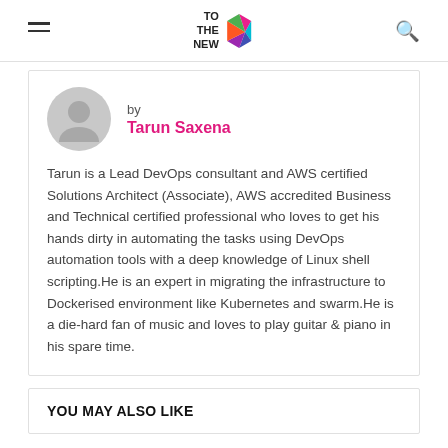TO THE NEW [logo]
[Figure (logo): TO THE NEW logo with colorful geometric icon]
by
Tarun Saxena
Tarun is a Lead DevOps consultant and AWS certified Solutions Architect (Associate), AWS accredited Business and Technical certified professional who loves to get his hands dirty in automating the tasks using DevOps automation tools with a deep knowledge of Linux shell scripting.He is an expert in migrating the infrastructure to Dockerised environment like Kubernetes and swarm.He is a die-hard fan of music and loves to play guitar & piano in his spare time.
YOU MAY ALSO LIKE